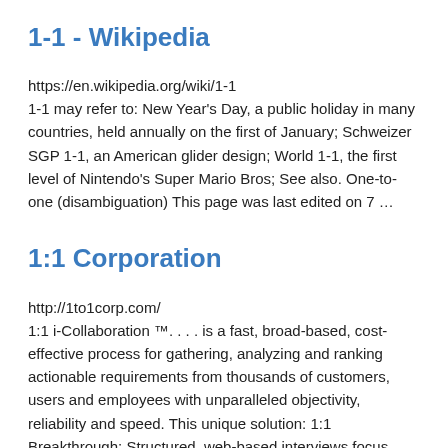1-1 - Wikipedia
https://en.wikipedia.org/wiki/1-1
1-1 may refer to: New Year's Day, a public holiday in many countries, held annually on the first of January; Schweizer SGP 1-1, an American glider design; World 1-1, the first level of Nintendo's Super Mario Bros; See also. One-to-one (disambiguation) This page was last edited on 7 …
1:1 Corporation
http://1to1corp.com/
1:1 i-Collaboration ™. . . . is a fast, broad-based, cost-effective process for gathering, analyzing and ranking actionable requirements from thousands of customers, users and employees with unparalleled objectivity, reliability and speed. This unique solution: 1:1 Breakthrough: Structured, web-based interviews focus participants on the most …